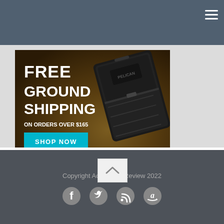Navigation header bar with hamburger menu
[Figure (screenshot): Pelican case advertisement banner: FREE GROUND SHIPPING ON ORDERS OVER $165 with SHOP NOW button and product photo of a Pelican case on rocky wet surface]
Secondary navigation bar with hamburger menu
[Figure (other): Back to top chevron button]
Copyright ActiveGearReview 2022
[Figure (other): Social media icons: Facebook, Twitter, RSS feed, Amazon]